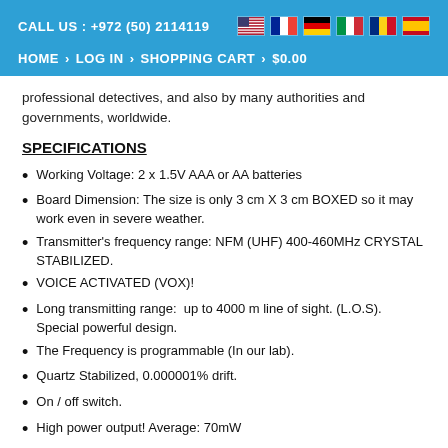CALL US : +972 (50) 2114119
HOME › LOG IN › SHOPPING CART › $0.00
professional detectives, and also by many authorities and governments, worldwide.
SPECIFICATIONS
Working Voltage: 2 x 1.5V AAA or AA batteries
Board Dimension: The size is only 3 cm X 3 cm BOXED so it may work even in severe weather.
Transmitter's frequency range: NFM (UHF) 400-460MHz CRYSTAL STABILIZED.
VOICE ACTIVATED (VOX)!
Long transmitting range:  up to 4000 m line of sight. (L.O.S). Special powerful design.
The Frequency is programmable (In our lab).
Quartz Stabilized, 0.000001% drift.
On / off switch.
High power output! Average: 70mW
NFM for power and stability.
Using a mil. specs. resin for encapsulating, for safety, security and anti-rigidity.